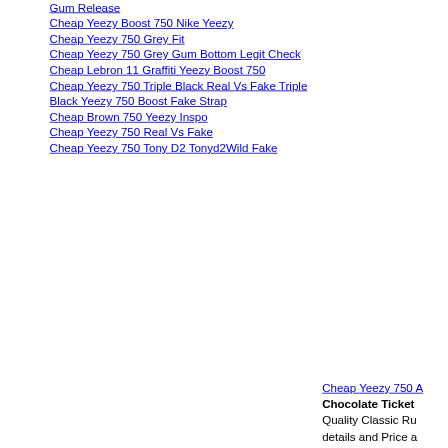Gum Release
Cheap Yeezy Boost 750 Nike Yeezy
Cheap Yeezy 750 Grey Fit
Cheap Yeezy 750 Grey Gum Bottom Legit Check
Cheap Lebron 11 Graffiti Yeezy Boost 750
Cheap Yeezy 750 Triple Black Real Vs Fake Triple Black Yeezy 750 Boost Fake Strap
Cheap Brown 750 Yeezy Inspo
Cheap Yeezy 750 Real Vs Fake
Cheap Yeezy 750 Tony D2 Tonyd2Wild Fake
Cheap Yeezy 750 A
Chocolate Ticket
Quality Classic Ru
details and Price a